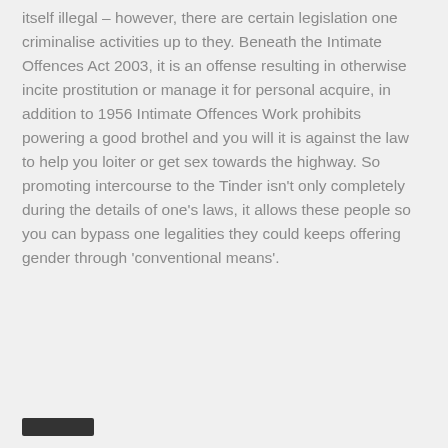itself illegal – however, there are certain legislation one criminalise activities up to they. Beneath the Intimate Offences Act 2003, it is an offense resulting in otherwise incite prostitution or manage it for personal acquire, in addition to 1956 Intimate Offences Work prohibits powering a good brothel and you will it is against the law to help you loiter or get sex towards the highway. So promoting intercourse to the Tinder isn't only completely during the details of one's laws, it allows these people so you can bypass one legalities they could keeps offering gender through 'conventional means'.